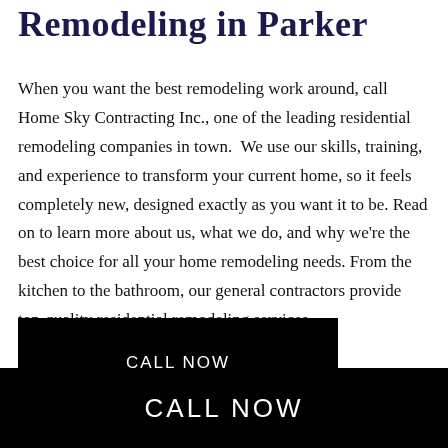Remodeling in Parker
When you want the best remodeling work around, call Home Sky Contracting Inc., one of the leading residential remodeling companies in town.  We use our skills, training, and experience to transform your current home, so it feels completely new, designed exactly as you want it to be. Read on to learn more about us, what we do, and why we’re the best choice for all your home remodeling needs. From the kitchen to the bathroom, our general contractors provide top-quality residential remodeling services.
[Figure (other): Black button with white text reading CALL NOW]
CALL NOW